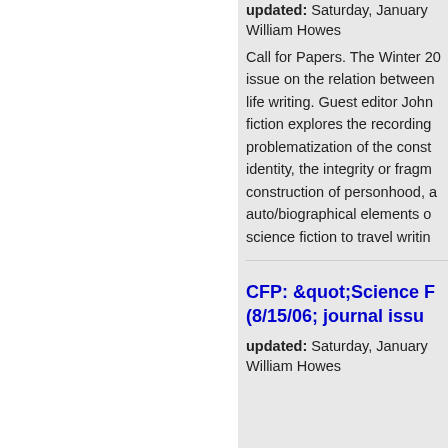updated: Saturday, January
William Howes
Call for Papers. The Winter 20 issue on the relation between life writing. Guest editor John fiction explores the recording problematization of the const identity, the integrity or fragm construction of personhood, a auto/biographical elements o science fiction to travel writin
CFP: &quot;Science F (8/15/06; journal issu
updated: Saturday, January
William Howes